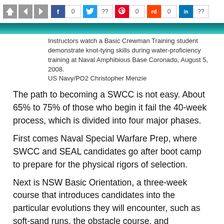[Figure (screenshot): Social media sharing toolbar with home, back, forward navigation icons and Facebook (0), Twitter (??), Pinterest (0), Reddit (0), LinkedIn (??) share buttons]
[Figure (photo): Partial view of a teal/turquoise water image, top portion of a photo showing water at Naval Amphibious Base Coronado]
Instructors watch a Basic Crewman Training student demonstrate knot-tying skills during water-proficiency training at Naval Amphibious Base Coronado, August 5, 2008.
US Navy/PO2 Christopher Menzie
The path to becoming a SWCC is not easy. About 65% to 75% of those who begin it fail the 40-week process, which is divided into four major phases.
First comes Naval Special Warfare Prep, where SWCC and SEAL candidates go after boot camp to prepare for the physical rigors of selection.
Next is NSW Basic Orientation, a three-week course that introduces candidates into the particular evolutions they will encounter, such as soft-sand runs, the obstacle course, and